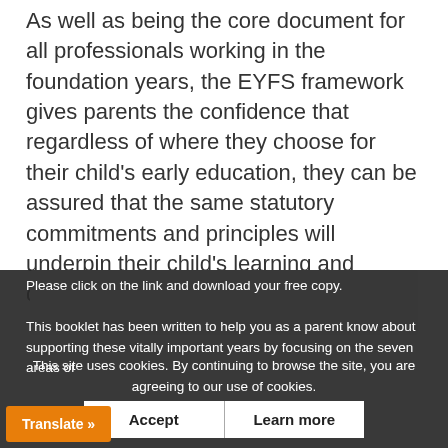As well as being the core document for all professionals working in the foundation years, the EYFS framework gives parents the confidence that regardless of where they choose for their child's early education, they can be assured that the same statutory commitments and principles will underpin their child's learning and development experience.
[Figure (other): Gray placeholder box]
Please click on the link and download your free copy.
This booklet has been written to help you as a parent know about supporting these vitally important years by focusing on the seven areas of
This site uses cookies. By continuing to browse the site, you are agreeing to our use of cookies.
Accept
Learn more
Translate »